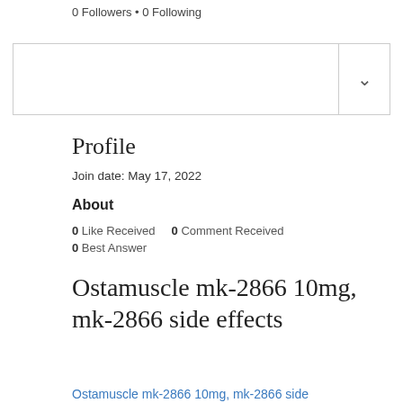0 Followers • 0 Following
[Figure (other): UI divider row with dropdown chevron on the right side]
Profile
Join date: May 17, 2022
About
0 Like Received    0 Comment Received
0 Best Answer
Ostamuscle mk-2866 10mg, mk-2866 side effects
Ostamuscle mk-2866 10mg, mk-2866 side